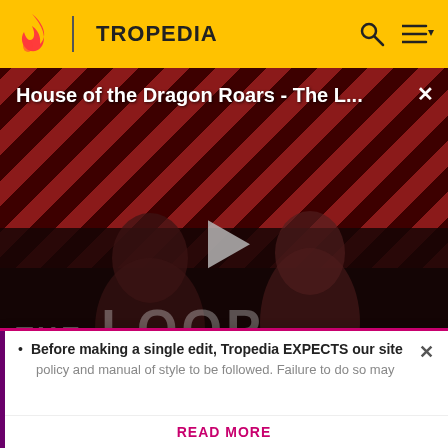TROPEDIA
[Figure (screenshot): Video player showing House of the Dragon Roars - The L... with diagonal red/dark stripe background, two figures visible, play button in center, THE LOOP text overlay, NaN:NaN time display]
because he thought it would be a pro-war, gung-ho propaganda piece. Then he read the
Before making a single edit, Tropedia EXPECTS our site policy and manual of style to be followed. Failure to do so may
READ MORE